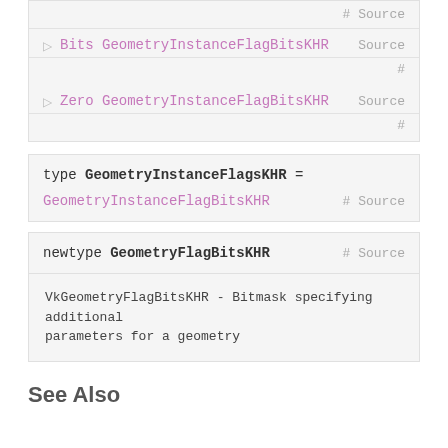▷ Bits GeometryInstanceFlagBitsKHR   Source #
▷ Zero GeometryInstanceFlagBitsKHR   Source #
type GeometryInstanceFlagsKHR = GeometryInstanceFlagBitsKHR   # Source
newtype GeometryFlagBitsKHR   # Source
VkGeometryFlagBitsKHR - Bitmask specifying additional parameters for a geometry
See Also